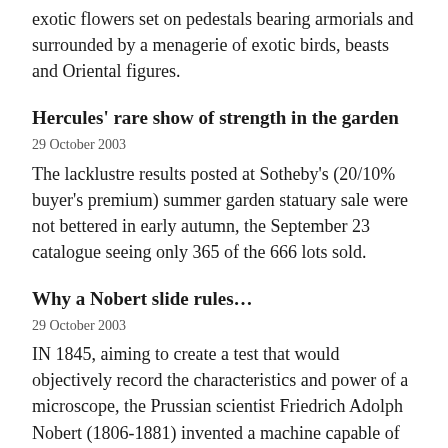exotic flowers set on pedestals bearing armorials and surrounded by a menagerie of exotic birds, beasts and Oriental figures.
Hercules' rare show of strength in the garden
29 October 2003
The lacklustre results posted at Sotheby's (20/10% buyer's premium) summer garden statuary sale were not bettered in early autumn, the September 23 catalogue seeing only 365 of the 666 lots sold.
Why a Nobert slide rules…
29 October 2003
IN 1845, aiming to create a test that would objectively record the characteristics and power of a microscope, the Prussian scientist Friedrich Adolph Nobert (1806-1881) invented a machine capable of drawing parallel lines minute distances apart.